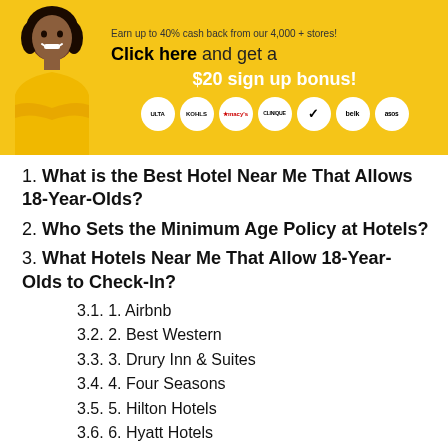[Figure (infographic): Yellow advertisement banner with a woman in a yellow sweater, text 'Earn up to 40% cash back from our 4,000+ stores! Click here and get a $20 sign up bonus!' and logos for Ulta, Kohl's, Macy's, Clinique, Nike, Belk, ASOS]
1. What is the Best Hotel Near Me That Allows 18-Year-Olds?
2. Who Sets the Minimum Age Policy at Hotels?
3. What Hotels Near Me That Allow 18-Year-Olds to Check-In?
3.1. 1. Airbnb
3.2. 2. Best Western
3.3. 3. Drury Inn & Suites
3.4. 4. Four Seasons
3.5. 5. Hilton Hotels
3.6. 6. Hyatt Hotels
3.7. 7. Intercontinental Hotels Group